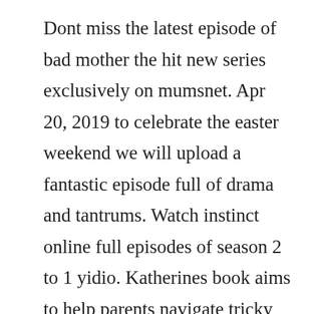Dont miss the latest episode of bad mother the hit new series exclusively on mumsnet. Apr 20, 2019 to celebrate the easter weekend we will upload a fantastic episode full of drama and tantrums. Watch instinct online full episodes of season 2 to 1 yidio. Katherines book aims to help parents navigate tricky behavioral situations and work with their. Phil meets cassie, a 28yearold woman who admits to being a drug addict since high school. Stream the the mike taylor show episode, spurs lose. But she decides to move to new